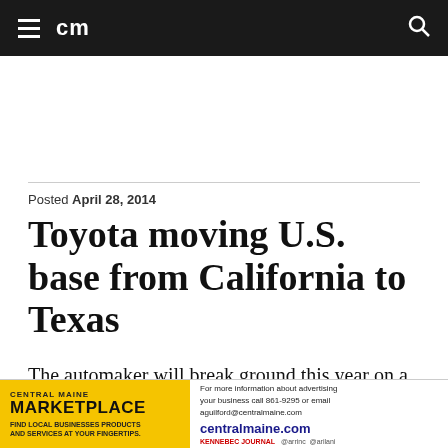cm
Posted April 28, 2014
Toyota moving U.S. base from California to Texas
The automaker will break ground this year on a new environmentally friendly headquarters in Plano, about 25 miles north of Dallas.
[Figure (other): Central Maine Marketplace advertisement banner: yellow section with 'CENTRAL MAINE MARKETPLACE FIND LOCAL BUSINESSES PRODUCTS AND SERVICES AT YOUR FINGERTIPS.' and white section with contact information and centralmaine.com]
For more information about advertising your business call 861-9295 or email aguilford@centralmaine.com centralmaine.com KENNEBEC JOURNAL @arrinc @arilani